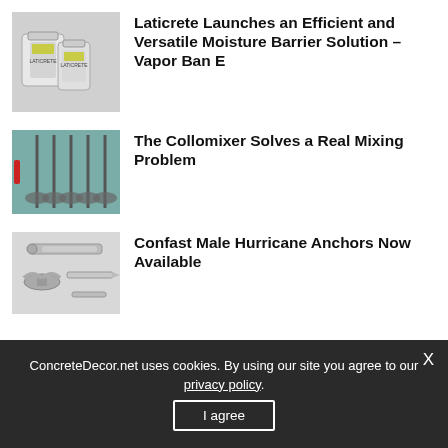[Figure (photo): Two plastic buckets of Laticrete Vapor Ban E moisture barrier product]
Laticrete Launches an Efficient and Versatile Moisture Barrier Solution – Vapor Ban E
[Figure (photo): The Collomixer tool — multiple mixing paddles mounted on stands]
The Collomixer Solves a Real Mixing Problem
[Figure (photo): Confast Male Hurricane Anchor hardware components on white background]
Confast Male Hurricane Anchors Now Available
ConcreteDecor.net uses cookies. By using our site you agree to our privacy policy.